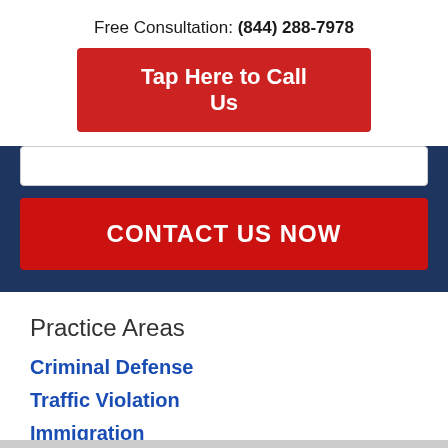Free Consultation: (844) 288-7978
Tap Here to Call Us
CONTACT US NOW
Practice Areas
Criminal Defense
Traffic Violation
Immigration